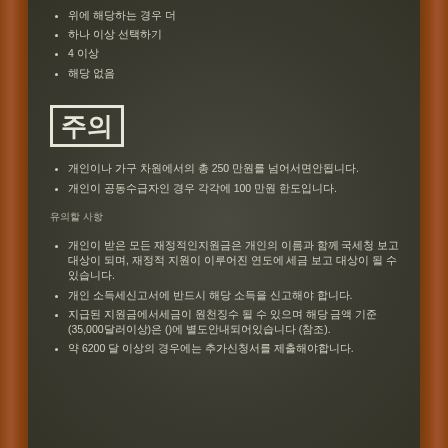위에 해당하는 경우 더
하나 이상 선택하기
4 이상
해당 없음
주의
개인이나 가구 차원에서의 총 250 만원를 넘어서면안됩니다.
개인이 공동수급자인 경우 각각에 100 만원 한도입니다.
유의할 사항
개인이 받은 모든 재정적인지원금은 개인의 이름과 함께 국세청 보고 대상이 되며, 재정적 지원이 이루어진 연도에 세금 보고 대상이 될 수 있습니다.
개인 소득세신고서에 반드시 해당 소득을 신고해야 합니다.
지급된 지원금에서세금이 원천징수 될 수 있으며 해당 금액 기준 (35,000달러이상)은 ()에 별도안내되어있습니다 (참조).
약 6200 달 이상의 경우에는 추가신청서를 제출해야합니다.